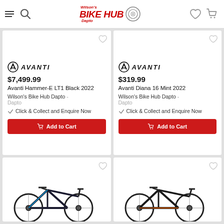Wilson's Bike Hub Dapto
[Figure (screenshot): Product card: Avanti logo, $7,499.99, Avanti Hammer-E LT1 Black 2022, Wilson's Bike Hub Dapto - Dapto, Click & Collect and Enquire Now, Add to Cart button]
[Figure (screenshot): Product card: Avanti logo, $319.99, Avanti Diana 16 Mint 2022, Wilson's Bike Hub Dapto - Dapto, Click & Collect and Enquire Now, Add to Cart button]
[Figure (photo): Partial product card showing a black and blue mountain bike]
[Figure (photo): Partial product card showing a black and orange mountain bike]